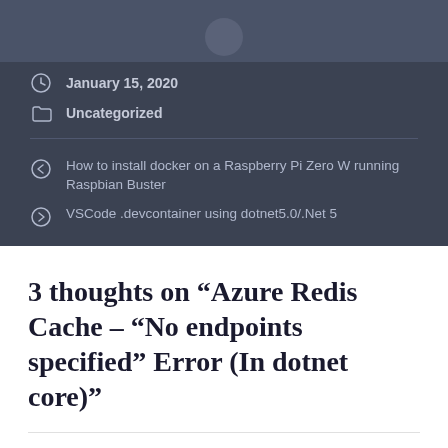January 15, 2020
Uncategorized
How to install docker on a Raspberry Pi Zero W running Raspbian Buster
VSCode .devcontainer using dotnet5.0/.Net 5
3 thoughts on “Azure Redis Cache – “No endpoints specified” Error (In dotnet core)”